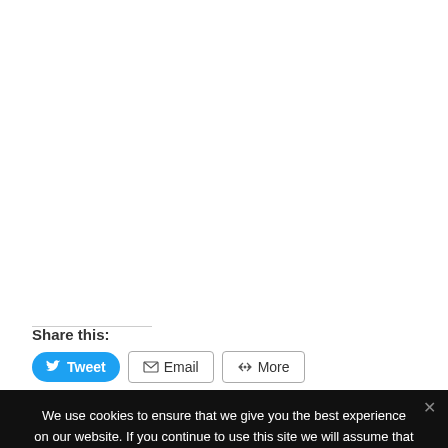Share this:
[Figure (screenshot): Social share buttons: Tweet (blue rounded button with Twitter bird icon), Email (grey border button with envelope icon), More (grey border button with share icon)]
We use cookies to ensure that we give you the best experience on our website. If you continue to use this site we will assume that you are happy with it.
[Figure (logo): Circular black and white logo with a bird/penguin figure]